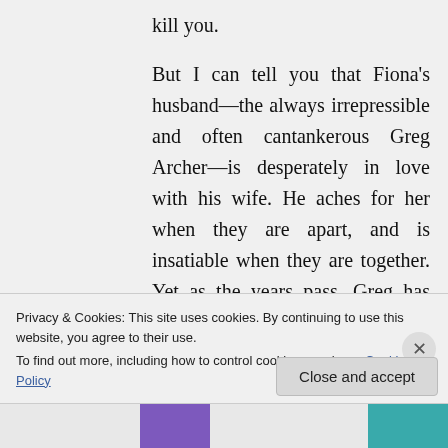kill you.

But I can tell you that Fiona's husband—the always irrepressible and often cantankerous Greg Archer—is desperately in love with his wife. He aches for her when they are apart, and is insatiable when they are together. Yet as the years pass, Greg has begun to suspect that Fiona is a ninja. A ninja mom. A ninja wife. A ninja friend. After
Privacy & Cookies: This site uses cookies. By continuing to use this website, you agree to their use.
To find out more, including how to control cookies, see here: Cookie Policy